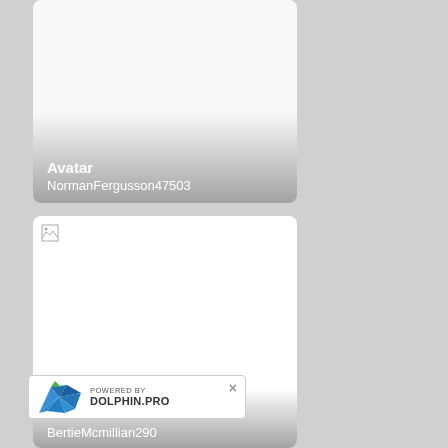[Figure (screenshot): User profile card for NormanFergusson47503 with Avatar label and gradient overlay at bottom]
Avatar
NormanFergusson47503
[Figure (screenshot): User profile card for BertieMcmillian290 with a broken image icon and gradient overlay]
BertieMcmillian290
[Figure (logo): Dolphin.pro powered by watermark banner with origami dolphin logo and close button]